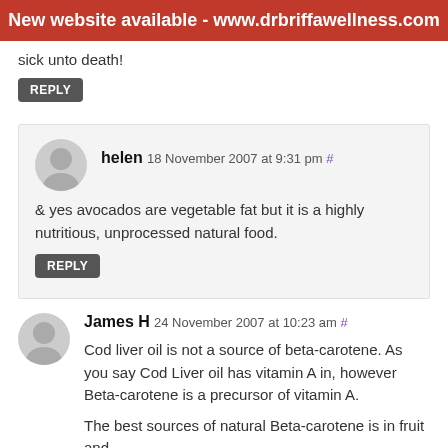New website available - www.drbriffawellness.com
sick unto death!
REPLY
helen 18 November 2007 at 9:31 pm #
& yes avocados are vegetable fat but it is a highly nutritious, unprocessed natural food.
REPLY
James H 24 November 2007 at 10:23 am #
Cod liver oil is not a source of beta-carotene. As you say Cod Liver oil has vitamin A in, however Beta-carotene is a precursor of vitamin A.
The best sources of natural Beta-carotene is in fruit and